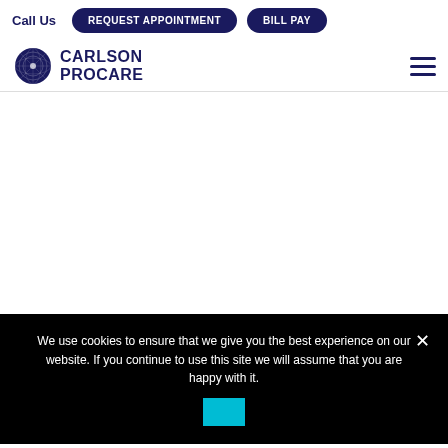Call Us  REQUEST APPOINTMENT  BILL PAY
[Figure (logo): Carlson Procare logo with circular emblem on the left and text CARLSON PROCARE on the right, in dark navy blue]
We use cookies to ensure that we give you the best experience on our website. If you continue to use this site we will assume that you are happy with it.